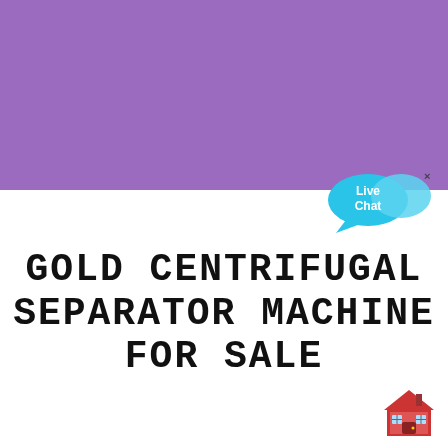[Figure (illustration): Purple rectangular banner background filling the top portion of the page]
[Figure (illustration): Live Chat speech bubble widget with cyan/blue color and 'Live Chat' text, with a small 'x' close button, positioned at top-right of the white section]
GOLD CENTRIFUGAL SEPARATOR MACHINE FOR SALE
[Figure (illustration): Small red house/building icon at bottom-right corner]